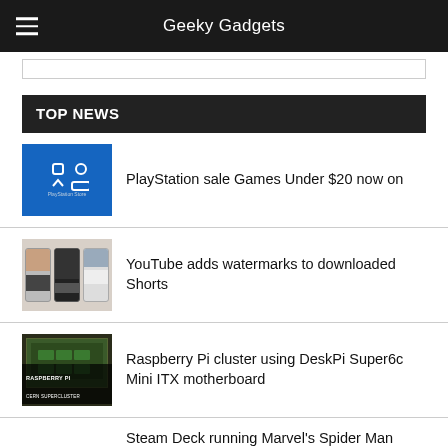Geeky Gadgets
TOP NEWS
PlayStation sale Games Under $20 now on
YouTube adds watermarks to downloaded Shorts
Raspberry Pi cluster using DeskPi Super6c Mini ITX motherboard
Steam Deck running Marvel's Spider Man